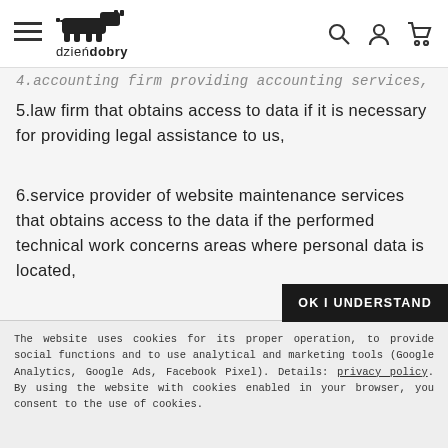dzieńdobry
4.accounting firm providing accounting services,
5.law firm that obtains access to data if it is necessary for providing legal assistance to us,
6.service provider of website maintenance services that obtains access to the data if the performed technical work concerns areas where personal data is located,
7.other sub-contractors that gain access to the data if the scope of their activities requires such access.
The website uses cookies for its proper operation, to provide social functions and to use analytical and marketing tools (Google Analytics, Google Ads, Facebook Pixel). Details: privacy policy. By using the website with cookies enabled in your browser, you consent to the use of cookies.